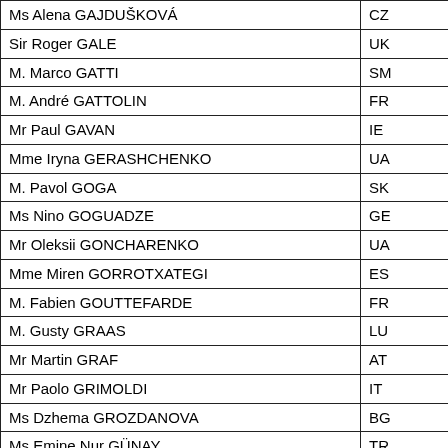| Name | Country |
| --- | --- |
| Ms Alena GAJDUŠKOVÁ | CZ |
| Sir Roger GALE | UK |
| M. Marco GATTI | SM |
| M. André GATTOLIN | FR |
| Mr Paul GAVAN | IE |
| Mme Iryna GERASHCHENKO | UA |
| M. Pavol GOGA | SK |
| Ms Nino GOGUADZE | GE |
| Mr Oleksii GONCHARENKO | UA |
| Mme Miren GORROTXATEGI | ES |
| M. Fabien GOUTTEFARDE | FR |
| M. Gusty GRAAS | LU |
| Mr Martin GRAF | AT |
| Mr Paolo GRIMOLDI | IT |
| Ms Dzhema GROZDANOVA | BG |
| Ms Emine Nur GÜNAY | TR |
| Mr Antonio GUTIÉRREZ LIMONES | ES |